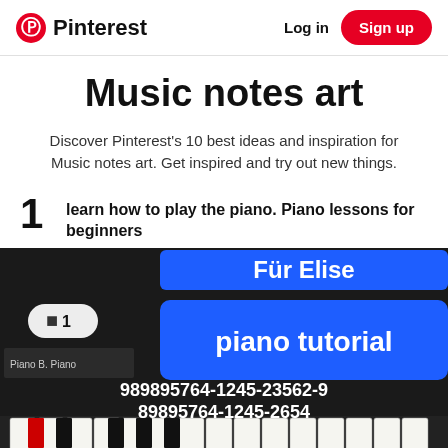Pinterest | Log in | Sign up
Music notes art
Discover Pinterest's 10 best ideas and inspiration for Music notes art. Get inspired and try out new things.
1 learn how to play the piano. Piano lessons for beginners
[Figure (screenshot): A piano tutorial screenshot showing 'Fur Elise piano tutorial' text overlay on a piano keyboard image, with numbers 989895764-1245-23562-9 and 89895764-1245-2654 displayed, and a video icon with '1' indicator in top left.]